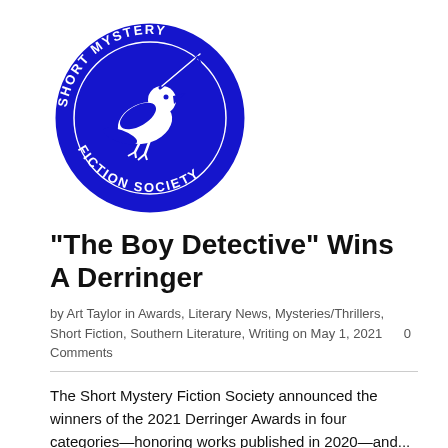[Figure (logo): Short Mystery Fiction Society circular logo in blue and white, featuring a bird holding a quill pen in the center, with text 'SHORT MYSTERY FICTION SOCIETY' around the border]
“The Boy Detective” Wins A Derringer
by Art Taylor in Awards, Literary News, Mysteries/Thrillers, Short Fiction, Southern Literature, Writing on May 1, 2021     0 Comments
The Short Mystery Fiction Society announced the winners of the 2021 Derringer Awards in four categories—honoring works published in 2020—and...